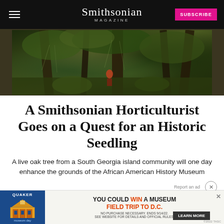Smithsonian MAGAZINE
[Figure (photo): A person walking among large live oak trees draped with Spanish moss on a South Georgia island, dense undergrowth of palmettos visible, sunlit forest scene.]
A Smithsonian Horticulturist Goes on a Quest for an Historic Seedling
A live oak tree from a South Georgia island community will one day enhance the grounds of the African American History Museum
[Figure (infographic): Quaker-sponsored advertisement banner: YOU COULD WIN A MUSEUM FIELD TRIP TO D.C. with LEARN MORE button. No purchase necessary. Ends 9/14/22. See website for details and official rules.]